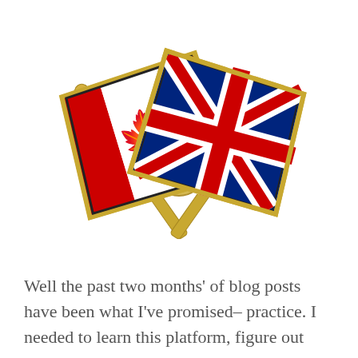[Figure (illustration): A crossed friendship pin badge featuring the Canadian flag (red and white with maple leaf) on the left and the British Union Jack flag (red, white, and blue) on the right, both mounted on gold metallic flag poles that cross in the center.]
Well the past two months' of blog posts have been what I've promised– practice. I needed to learn this platform, figure out